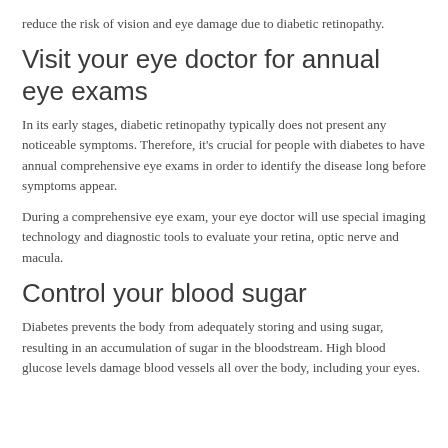reduce the risk of vision and eye damage due to diabetic retinopathy.
Visit your eye doctor for annual eye exams
In its early stages, diabetic retinopathy typically does not present any noticeable symptoms. Therefore, it's crucial for people with diabetes to have annual comprehensive eye exams in order to identify the disease long before symptoms appear.
During a comprehensive eye exam, your eye doctor will use special imaging technology and diagnostic tools to evaluate your retina, optic nerve and macula.
Control your blood sugar
Diabetes prevents the body from adequately storing and using sugar, resulting in an accumulation of sugar in the bloodstream. High blood glucose levels damage blood vessels all over the body, including your eyes.